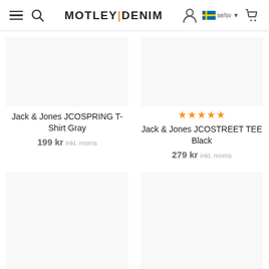MOTLEY DENIM — se/sv
Jack & Jones JCOSPRING T-Shirt Gray
199 kr inkl. moms
Jack & Jones JCOSTREET TEE Black
279 kr inkl. moms
Jack & Jones JCOSTREET (bottom left)
Jack & Jones LJAARON T- (bottom right)